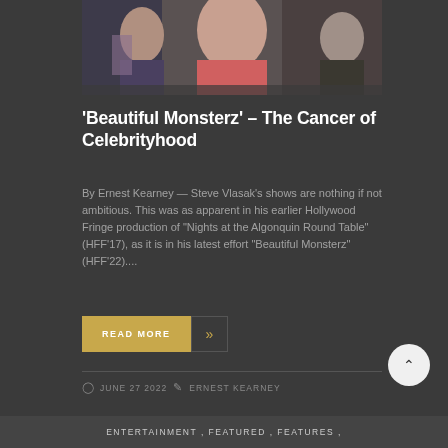[Figure (photo): Photo of people at an event, partially cropped at top]
'Beautiful Monsterz' – The Cancer of Celebrityhood
By Ernest Kearney — Steve Vlasak's shows are nothing if not ambitious. This was as apparent in his earlier Hollywood Fringe production of "Nights at the Algonquin Round Table" (HFF'17), as it is in his latest effort "Beautiful Monsterz" (HFF'22)....
READ MORE »
JUNE 27 2022  /  ERNEST KEARNEY
ENTERTAINMENT , FEATURED , FEATURES ,